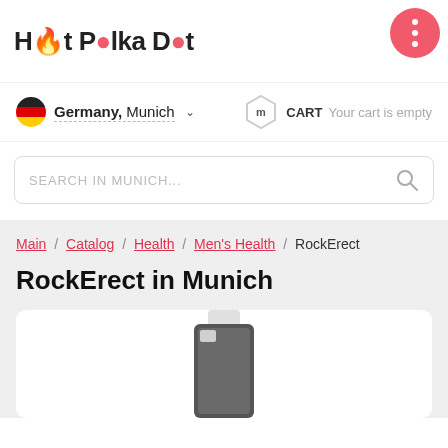Hot Polka Dot
Germany, Munich — CART Your cart is empty
SEARCH IN MUNICH...
Main / Catalog / Health / Men's Health / RockErect
RockErect in Munich
[Figure (photo): Product bottle image partially visible at bottom of page]